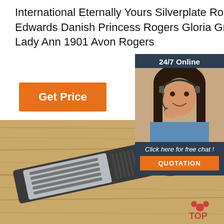International Eternally Yours Silverplate Rogers Lavigne Vintage Holmes Edwards Danish Princess Rogers Gloria Grenoble Wm Rogers Priscilla Lady Ann 1901 Avon Rogers
Get Price
[Figure (photo): Customer service representative woman with headset, 24/7 Online chat widget with orange QUOTATION button on dark blue background]
[Figure (photo): Stainless steel kitchen grater/slicer tool on wooden surface with potato and bowl in background, with TOP logo watermark]